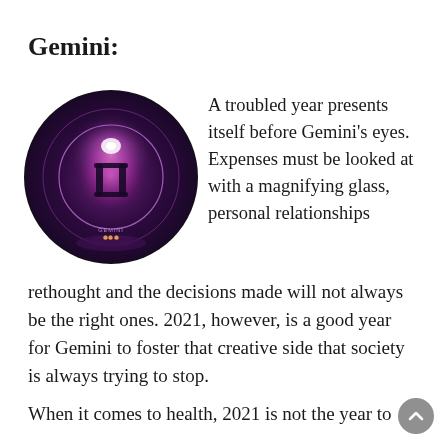Gemini:
[Figure (illustration): Circular dark purple/violet crystal ball or zodiac orb with the Gemini symbol (two vertical lines connected by two horizontal bars) in the center, glowing pink-purple light effect, with small text reading 'GEMINI' at the bottom inside the circle.]
A troubled year presents itself before Gemini’s eyes. Expenses must be looked at with a magnifying glass, personal relationships rethought and the decisions made will not always be the right ones. 2021, however, is a good year for Gemini to foster that creative side that society is always trying to stop.
When it comes to health, 2021 is not the year to